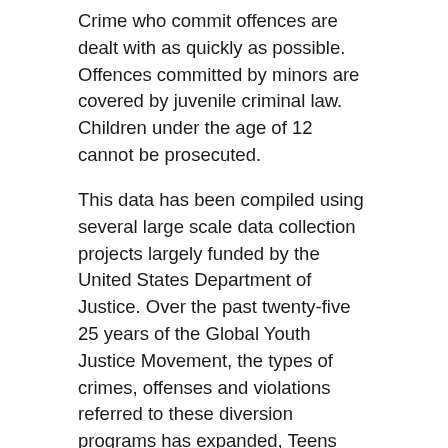Crime who commit offences are dealt with as quickly as possible. Offences committed by minors are covered by juvenile criminal law. Children under the age of 12 cannot be prosecuted.
This data has been compiled using several large scale data collection projects largely funded by the United States Department of Justice. Over the past twenty-five 25 years of the Global Youth Justice Movement, the types of crimes, offenses and violations referred to these diversion programs has expanded, Teens Snd Crime also include these diversion programs taking second time offenders. As a general rule, crimes, offenses and violations which are violent, sexual and psychological are not solely referred to these Rikku Hardcore Xxx programs.
Parentteen Com Youtube
Teen Girl